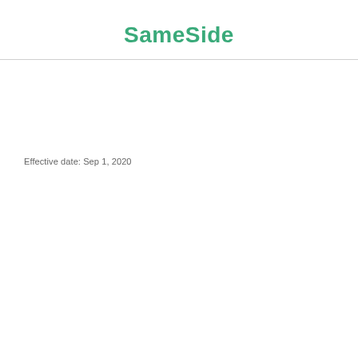SameSide
Effective date: Sep 1, 2020